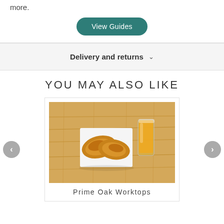more.
View Guides
Delivery and returns
YOU MAY ALSO LIKE
[Figure (photo): Oak worktop with croissants on a white plate and a glass of orange juice on the surface.]
Prime Oak Worktops